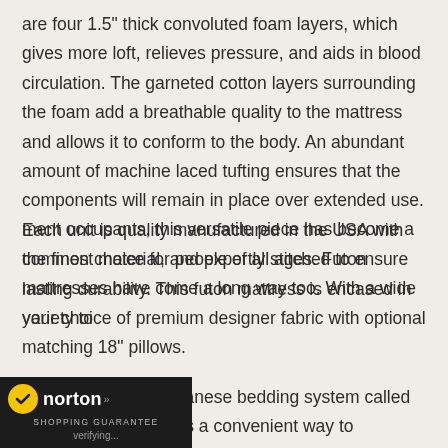are four 1.5" thick convoluted foam layers, which gives more loft, relieves pressure, and aids in blood circulation. The garneted cotton layers surrounding the foam add a breathable quality to the mattress and allows it to conform to the body. An abundant amount of machine laced tufting ensures that the components will remain in place over extended use. Each unit is quality manufactured in the USA with the finest material, and expertly stitched to ensure lasting durability. This futon mattress is encased in your choice of premium designer fabric with optional matching 18" pillows.
Derived from the Japanese bedding system called "shikibuton", a futon is a convenient way to maximize any small space. Generally popular among college students and apartment occupants, this versatile piece has become a common choice for people of all ages. Futon mattresses have come a long way too. With a wide variety to
[Figure (logo): Norton Shopping Guarantee badge with yellow checkmark, 'norton' text in white, and 'SHOPPING GUARANTEE' subtitle. Shows 'verifying...' text at bottom.]